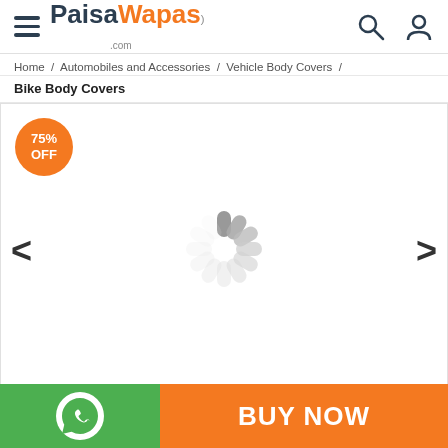PaisaWapas.com
Home / Automobiles and Accessories / Vehicle Body Covers /
Bike Body Covers
[Figure (screenshot): Product image carousel area showing a loading spinner with 75% OFF badge in orange circle, left and right navigation arrows]
BUY NOW